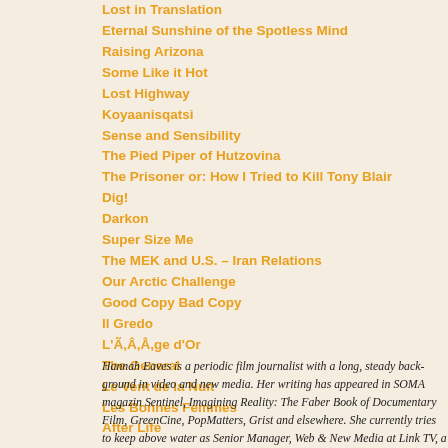Lost in Translation
Eternal Sunshine of the Spotless Mind
Raising Arizona
Some Like it Hot
Lost Highway
Koyaanisqatsi
Sense and Sensibility
The Pied Piper of Hutzovina
The Prisoner or: How I Tried to Kill Tony Blair
Dig!
Darkon
Super Size Me
The MEK and U.S. – Iran Relations
Our Arctic Challenge
Good Copy Bad Copy
Il Gredo
L'Ã‚Â‚Â‚Â‚Â‚Â‚Â‚Â‚Â‚Â‚Â‚Â‚Â‚Â‚Â‚Â‚Â‚Â‚Â‚Â‚Â‚Â‚Â‚Â‚Â‚Â‚Â‚Â‚Â‚Â‚Â‚Â‚Â‚Â‚Â‚Â‚Â‚Â‚Â‚Â‚Â‚Â‚Â‚Â‚Â‚Â‚Â‚Â‚Â‚Â‚Â‚Â‚Â‚Â‚Â‚Â‚Â‚Â‚Â‚Â‚Â‚Â‚Â‚Â‚Â‚Â‚Â‚Â‚Â‚Â‚Â‚Â‚Â‚Â‚Â‚Â‚Â‚Â‚Â‚Â‚Â‚Â‚Â‚Â‚Â‚Â‚Â‚Â‚Â‚Â‚Â‚Â‚Â‚Â‚Â‚Â‚Â‚Â‚Â‚Â,ge d'Or
The General
Le Vent de la Nuit
Les Bonnes Femmes
After Life
Hannah Eaves is a periodic film journalist with a long, steady background in video and new media. Her writing has appeared in SOMA magazine, Orlando Sentinel, Imagining Reality: The Faber Book of Documentary Film, GreenCine, PopMatters, Grist and elsewhere. She currently tries to keep her head above water as Senior Manager, Web & New Media at Link TV, a Peabody Award-winning national satellite television station. In her spare time she d…